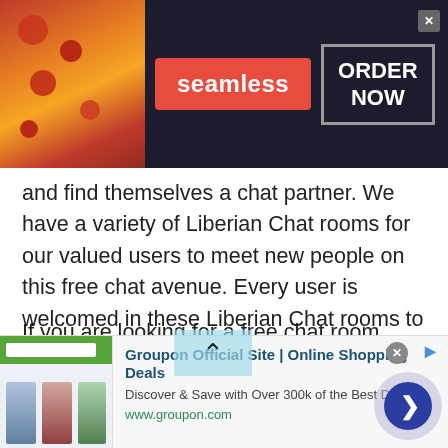[Figure (screenshot): Seamless food delivery advertisement banner with pizza image on left, red Seamless logo in center, and ORDER NOW button in box on right against dark background]
and find themselves a chat partner. We have a variety of Liberian Chat rooms for our valued users to meet new people on this free chat avenue. Every user is welcomed in these Liberian Chat rooms to have fun and enjoy with other online users. We welcome you to all of our free Liberian Chat rooms, on this platform you will be able to find a free chat room and start chatting within no time.
If you are looking for a free chat room online, you will be amazed by the number of free Liberian Chat rooms you
[Figure (screenshot): Groupon Official Site advertisement banner with Groupon logo, text 'Discover & Save with Over 300k of the Best Deals', www.groupon.com URL, and a blue circular next/arrow button on the right]